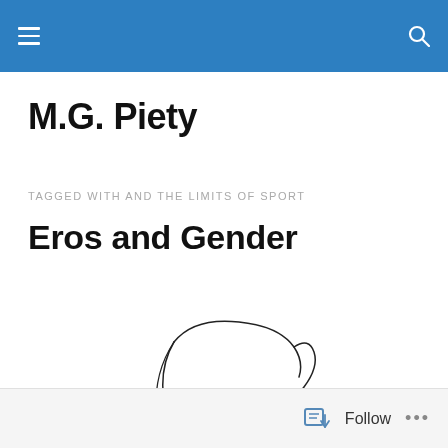M.G. Piety — site navigation header
M.G. Piety
TAGGED WITH AND THE LIMITS OF SPORT
Eros and Gender
[Figure (illustration): Line drawing illustration of a person's face in profile, minimalist style, looking slightly downward]
Follow  ...